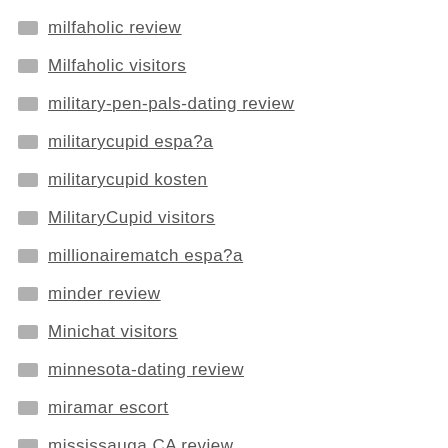milfaholic review
Milfaholic visitors
military-pen-pals-dating review
militarycupid espa?a
militarycupid kosten
MilitaryCupid visitors
millionairematch espa?a
minder review
Minichat visitors
minnesota-dating review
miramar escort
mississauga CA review